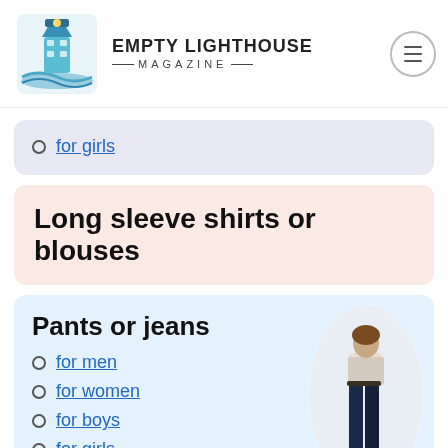EMPTY LIGHTHOUSE MAGAZINE
for girls
Long sleeve shirts or blouses
Pants or jeans
for men
for women
for boys
for girls
[Figure (photo): Woman wearing dark blue skinny jeans]
Light jacket or
[Figure (photo): Person in a dark jacket]